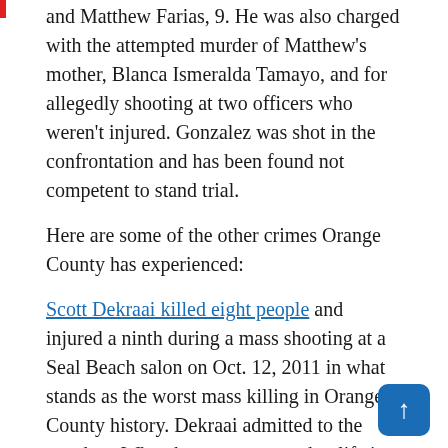and Matthew Farias, 9. He was also charged with the attempted murder of Matthew's mother, Blanca Ismeralda Tamayo, and for allegedly shooting at two officers who weren't injured. Gonzalez was shot in the confrontation and has been found not competent to stand trial.
Here are some of the other crimes Orange County has experienced:
Scott Dekraai killed eight people and injured a ninth during a mass shooting at a Seal Beach salon on Oct. 12, 2011 in what stands as the worst mass killing in Orange County history. Dekraai admitted to the murders. When he was sentenced to life in prison without the possibility of parole an Orange County judge told Dekraai the gates of Hell flew open and you emerged as the face of